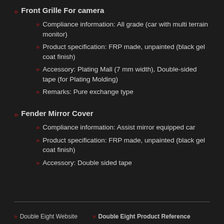Front Grille For camera
Compliance information: All grade (car with multi terrain monitor)
Product specification: FRP made, unpainted (black gel coat finish)
Accessory: Plating Mall (7 mm width), Double-sided tape (for Plating Molding)
Remarks: Pure exchange type
Fender Mirror Cover
Compliance information: Assist mirror equipped car
Product specification: FRP made, unpainted (black gel coat finish)
Accessory: Double sided tape
Double Eight Website   Double Eight Product Reference